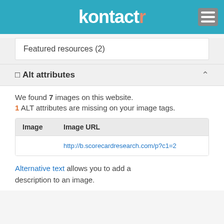[Figure (logo): Kontactr logo with teal/blue rounded text and orange letter r, on teal background header with gray hamburger menu icon]
Featured resources (2)
□ Alt attributes
We found 7 images on this website.
1 ALT attributes are missing on your image tags.
| Image | Image URL |
| --- | --- |
|  | http://b.scorecardresearch.com/p?c1=2 |
Alternative text allows you to add a description to an image.